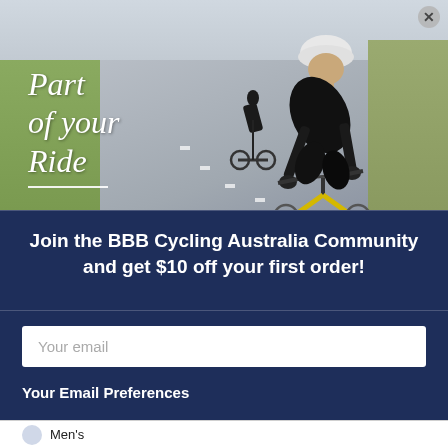[Figure (photo): Two cyclists riding on a road, one close in the foreground wearing black kit, white helmet, and sunglasses on a yellow bike, and one behind. Text overlay reads 'Part of your Ride' in white handwritten script on the left side.]
Join the BBB Cycling Australia Community and get $10 off your first order!
Your email
Your Email Preferences
Men's